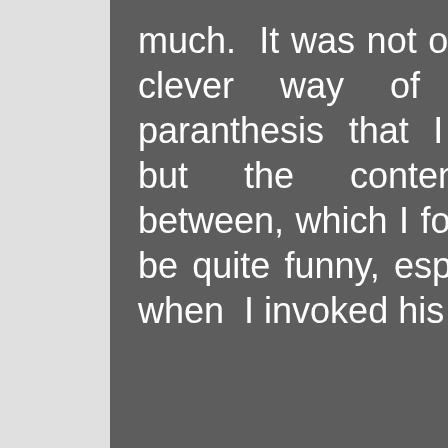much.  It was not only his clever way of using paranthesis that I liked, but the content in between, which I found to be quite funny, especially when I invoked his